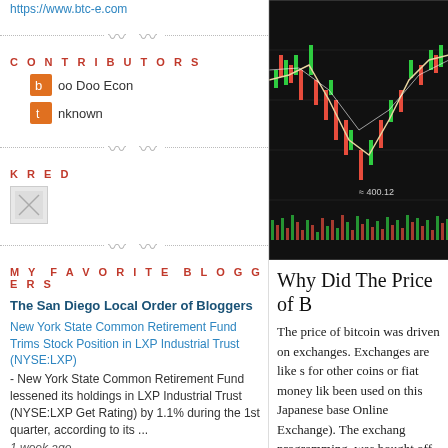https://www.btc-e.com
CONTRIBUTORS
Doo Doo Econ
Unknown
KRED
[Figure (other): Kred widget image placeholder]
MY FAVORITE BLOGGERS
The San Diego Local Order of Bloggers
New York State Common Retirement Fund Trims Stock Position in LXP Industrial Trust (NYSE:LXP) - New York State Common Retirement Fund lessened its holdings in LXP Industrial Trust (NYSE:LXP Get Rating) by 1.1% during the 1st quarter, according to its ... 1 week ago
[Figure (other): Bitcoin/BTC-E candlestick trading chart showing price around 400.12 with red and green candles and moving average lines]
Why Did The Price of B
The price of bitcoin was driven on exchanges. Exchanges are like s for other coins or fiat money lik been used on this Japanese base Online Exchange). The exchang programming, was bought off b Whatever the case, the people re